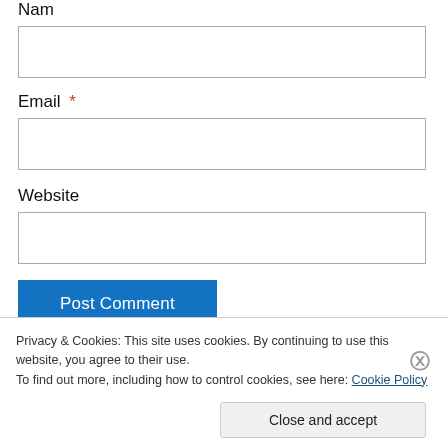Name *
[Figure (other): Empty text input box for Name field]
Email *
[Figure (other): Empty text input box for Email field]
Website
[Figure (other): Empty text input box for Website field]
Post Comment
Privacy & Cookies: This site uses cookies. By continuing to use this website, you agree to their use.
To find out more, including how to control cookies, see here: Cookie Policy
Close and accept